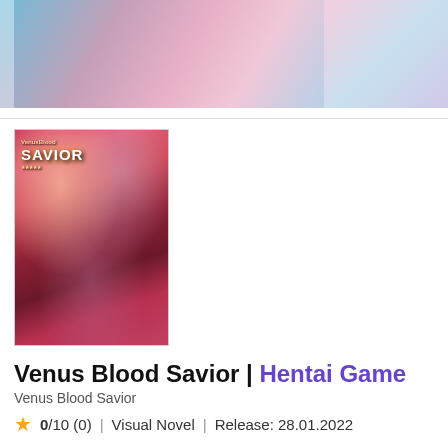[Figure (illustration): Partial anime illustration showing stylized characters at the top of the page]
[Figure (illustration): Cover art for Venus Blood Savior showing multiple anime female characters on a red background with game logo]
Venus Blood Savior | Hentai Game
Venus Blood Savior
0/10 (0)  |  Visual Novel  |  Release: 28.01.2022
The continent of Levancia, where humanity enjoys prosperity under the blessing of Harial, the goddess of the sun. The goddess of darkness, Ishtar, was sealed, and the dark demons were squeezed into the frontiers and the bottom of the earth. Because of the era full of light, the demons